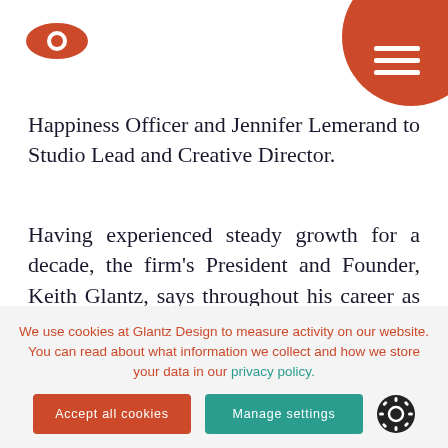[Logo: eye icon] [Hamburger menu button]
Happiness Officer and Jennifer Lemerand to Studio Lead and Creative Director.
Having experienced steady growth for a decade, the firm’s President and Founder, Keith Glantz, says throughout his career as a Creative Director/Designer and entrepreneur, he’s looked for partners who could round out his capabilities. “Nearly seven years ago, I
We use cookies at Glantz Design to measure activity on our website. You can read about what information we collect and how we store your data in our privacy policy.
Accept all cookies
Manage settings